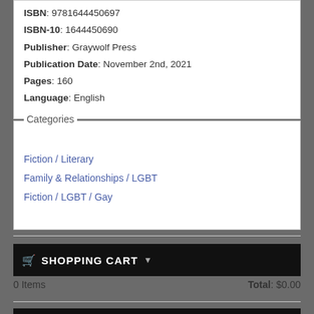ISBN: 9781644450697
ISBN-10: 1644450690
Publisher: Graywolf Press
Publication Date: November 2nd, 2021
Pages: 160
Language: English
Categories
Fiction / Literary
Family & Relationships / LGBT
Fiction / LGBT / Gay
SHOPPING CART
0 Items
Total: $0.00